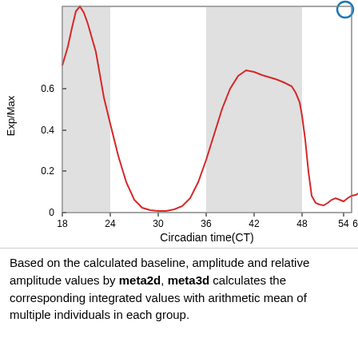[Figure (continuous-plot): Line chart showing Exp/Max (y-axis, 0 to ~0.8) vs Circadian time CT (x-axis, 18 to 60+). A red oscillating curve with two troughs near CT=32 and CT=54. Two gray shaded bands at approximately CT 18-24 and CT 36-48. A partial blue circle at top right. Y-axis label: Exp/Max, X-axis label: Circadian time(CT).]
Based on the calculated baseline, amplitude and relative amplitude values by meta2d, meta3d calculates the corresponding integrated values with arithmetic mean of multiple individuals in each group.